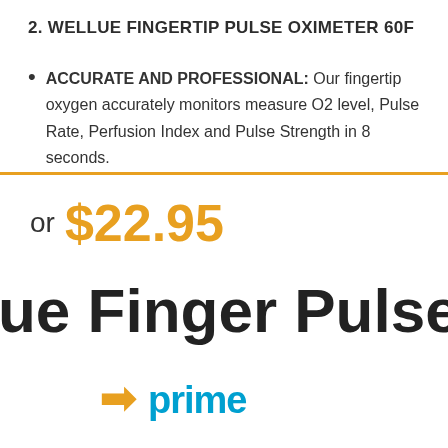2. WELLUE FINGERTIP PULSE OXIMETER 60F
ACCURATE AND PROFESSIONAL: Our fingertip oxygen accurately monitors measure O2 level, Pulse Rate, Perfusion Index and Pulse Strength in 8 seconds.
or $22.95
ue Finger Pulse O
[Figure (logo): Amazon Prime logo partially visible showing lightning bolt and 'prime' text in blue and gold]